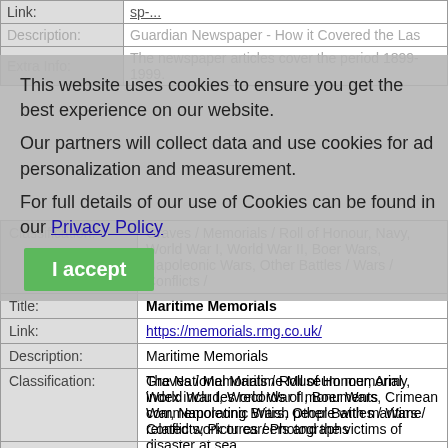| Link: | sp-... |
| Description: | Guardian Newspaper - How it Covered the Las... |
| Extra Info: | The newspaper articles cover the period 1899-1999. |
This website uses cookies to ensure you get the best experience on our website. Our partners will collect data and use cookies for ad personalization and measurement. For full details of our use of Cookies can be found in our Privacy Policy
| Classification: | Graves / Memorials / Roll of Honour, Navy, World War I, World War II, Boer Wars, Napoleonic Wars, Other Battles / Wars / Conflict |
| Title: | Maritime Memorials |
| Link: | https://memorials.rmg.co.uk/ |
| Description: | Maritime Memorials |
| Extra Info: | The National Maritime Museum memorial index includes records of monuments commemorating British people with maritime related work or careers and the victims of disaster at sea. |
| Classification: | Graves / Memorials / Roll of Honour, Army, World War I, World War II, Boer Wars, Crimean War, Napoleonic Wars, Other Battles / Wars / Conflicts, Pictures / Photographs |
| Title: | Mary Evans Picture Library |